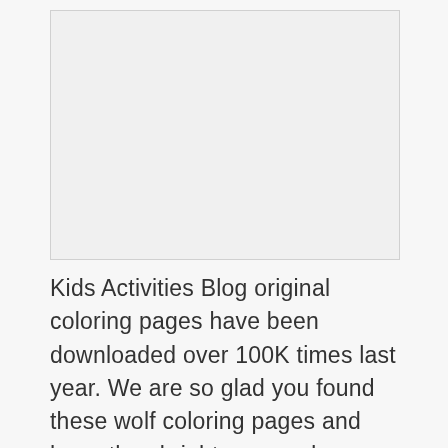[Figure (other): Blank/placeholder image area for wolf coloring page illustration]
Kids Activities Blog original coloring pages have been downloaded over 100K times last year. We are so glad you found these wolf coloring pages and hope they brighten your day.